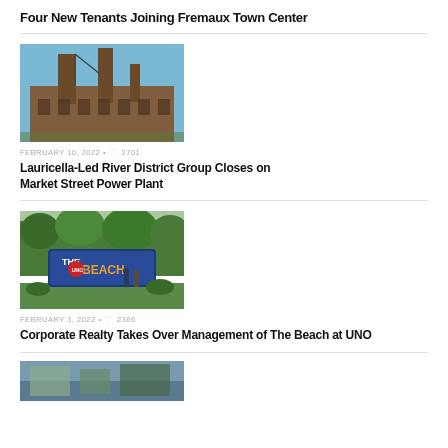Four New Tenants Joining Fremaux Town Center
[Figure (photo): Industrial brick building with tall smokestacks against a blue sky — Market Street Power Plant]
FEBRUARY 10, 2022 • ♡2701
Lauricella-Led River District Group Closes on Market Street Power Plant
[Figure (photo): Sign reading 'The Beach' with palm trees and landscaping in front — The Beach at UNO]
FEBRUARY 3, 2022 • ♡2366
Corporate Realty Takes Over Management of The Beach at UNO
[Figure (photo): Partial view of another article image at the bottom of the page]